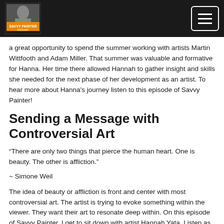The Savvy Painter Podcast
a great opportunity to spend the summer working with artists Martin Wittfooth and Adam Miller. That summer was valuable and formative for Hanna. Her time there allowed Hannah to gather insight and skills she needed for the next phase of her development as an artist. To hear more about Hanna's journey listen to this episode of Savvy Painter!
Sending a Message with Controversial Art
“There are only two things that pierce the human heart. One is beauty. The other is affliction.”
~ Simone Weil
The idea of beauty or affliction is front and center with most controversial art. The artist is trying to evoke something within the viewer. They want their art to resonate deep within. On this episode of Savvy Painter, I get to sit down with artist Hannah Yata. Listen as we discuss one of her most recent pieces of